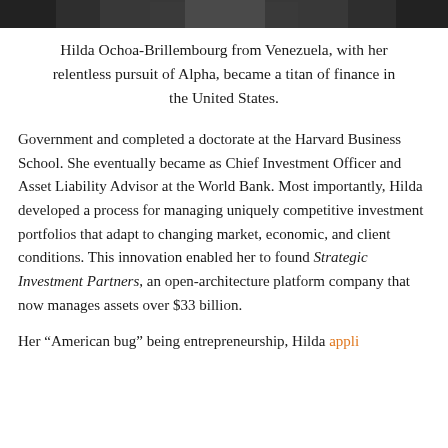[Figure (photo): Partial photo of a person, cropped at the top of the page — only the lower portion visible as a dark strip.]
Hilda Ochoa-Brillembourg from Venezuela, with her relentless pursuit of Alpha, became a titan of finance in the United States.
Government and completed a doctorate at the Harvard Business School. She eventually became as Chief Investment Officer and Asset Liability Advisor at the World Bank. Most importantly, Hilda developed a process for managing uniquely competitive investment portfolios that adapt to changing market, economic, and client conditions. This innovation enabled her to found Strategic Investment Partners, an open-architecture platform company that now manages assets over $33 billion.
Her “American bug” being entrepreneurship, Hilda appli…